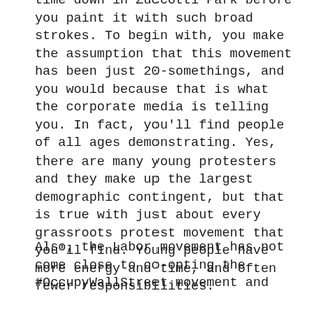time down in Zuccotti Park before you paint it with such broad strokes. To begin with, you make the assumption that this movement has been just 20-somethings, and you would because that is what the corporate media is telling you. In fact, you'll find people of all ages demonstrating. Yes, there are many young protesters and they make up the largest demographic contingent, but that is true with just about every grassroots protest movement that you'll find. Young people have more energy and time, and often fewer responsibilities.
Also, the Labor movement has not come close to co-opting the #OccupyWallStreet movement and